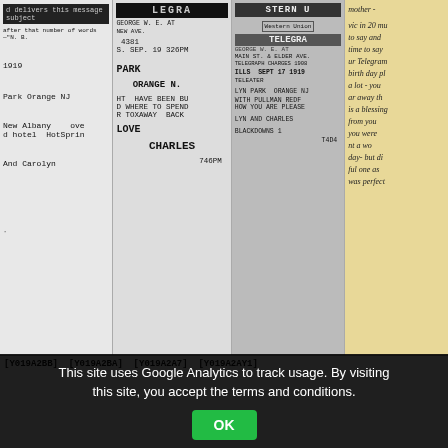[Figure (photo): Four-panel image of vintage telegrams and a handwritten note. Panel 1: Typewritten telegram text showing '1919', 'Park Orange NJ', 'New Albany', 'And Carolyn'. Panel 2: Western Union telegram with header 'LEGRA', '4381', 'S. SEP. 19 326PM', 'PARK', 'ORANGE N.', 'HT HAVE BEEN BU', 'D WHERE TO SPEND', 'R TOXAWAY BACK', 'LOVE', 'CHARLES', '746PM'. Panel 3: Western Union telegram 'STERN U', 'TELEGRA', 'ILLS SEPT 17 1919', 'LYN PARK ORANGE NJ', 'WITH PULLMAN REDF', 'HOW YOU ARE PLEASE', 'LYN AND CHARLES', 'T4D4'. Panel 4: Handwritten note on yellow paper reading 'mother -', text about 'in 20 mu', 'to say and', 'time to say', 'ur Telegram', 'birth day pl', 'a lot - you', 'ar away th', 'is a blessing', 'from you', 'you were', 'nt a wo', 'day- but di', 'ful one as', 'was perfect'.]
[Y019A2BB] [Y019A2BA] [Y019A2A7] [Y019A2AY1]
This site uses Google Analytics to track usage. By visiting this site, you accept the terms and conditions.
OK